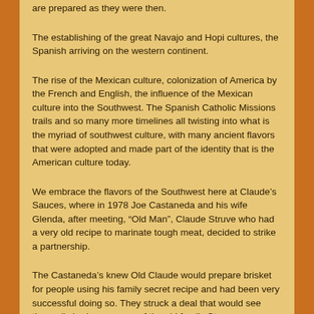are prepared as they were then.
The establishing of the great Navajo and Hopi cultures, the Spanish arriving on the western continent.
The rise of the Mexican culture, colonization of America by the French and English, the influence of the Mexican culture into the Southwest. The Spanish Catholic Missions trails and so many more timelines all twisting into what is the myriad of southwest culture, with many ancient flavors that were adopted and made part of the identity that is the American culture today.
We embrace the flavors of the Southwest here at Claude’s Sauces, where in 1978 Joe Castaneda and his wife Glenda, after meeting, “Old Man”, Claude Struve who had a very old recipe to marinate tough meat, decided to strike a partnership.
The Castaneda’s knew Old Claude would prepare brisket for people using his family secret recipe and had been very successful doing so. They struck a deal that would see them all sharing success of the old family Struve.